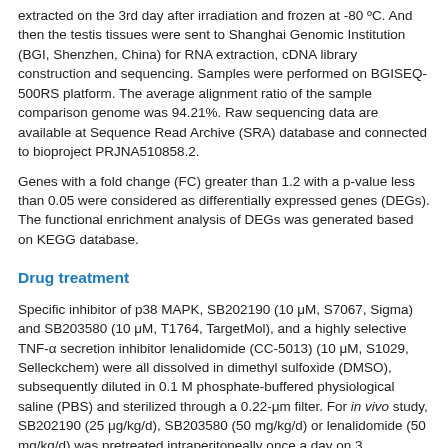extracted on the 3rd day after irradiation and frozen at -80 ºC. And then the testis tissues were sent to Shanghai Genomic Institution (BGI, Shenzhen, China) for RNA extraction, cDNA library construction and sequencing. Samples were performed on BGISEQ-500RS platform. The average alignment ratio of the sample comparison genome was 94.21%. Raw sequencing data are available at Sequence Read Archive (SRA) database and connected to bioproject PRJNA510858.2.
Genes with a fold change (FC) greater than 1.2 with a p-value less than 0.05 were considered as differentially expressed genes (DEGs). The functional enrichment analysis of DEGs was generated based on KEGG database.
Drug treatment
Specific inhibitor of p38 MAPK, SB202190 (10 μM, S7067, Sigma) and SB203580 (10 μM, T1764, TargetMol), and a highly selective TNF-α secretion inhibitor lenalidomide (CC-5013) (10 μM, S1029, Selleckchem) were all dissolved in dimethyl sulfoxide (DMSO), subsequently diluted in 0.1 M phosphate-buffered physiological saline (PBS) and sterilized through a 0.22-μm filter. For in vivo study, SB202190 (25 μg/kg/d), SB203580 (50 mg/kg/d) or lenalidomide (50 mg/kg/d) was pretreated intraperitoneally once a day on 3 consecutive days and 2 h ahead of HF-IR as well. SB202190 and SB203580 was injected respectively, and 0.1% DMSO was used as solvent control.
In addition, recombinant murine TNF-α/TNFSF2 (P6020, Beyotime, China) at a working concentration of 1.0 ng/ml was administrated to TM4 Sertoli cells in vitro for different times.
Assessment of spermatogenesis defects by HE